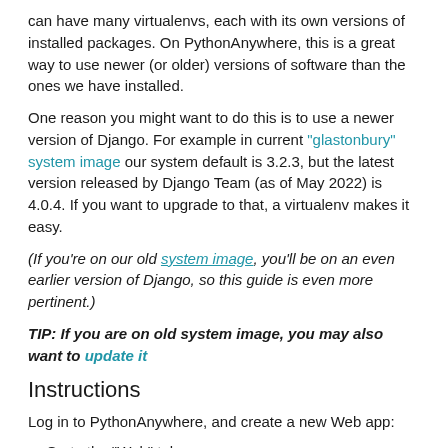can have many virtualenvs, each with its own versions of installed packages. On PythonAnywhere, this is a great way to use newer (or older) versions of software than the ones we have installed.
One reason you might want to do this is to use a newer version of Django. For example in current "glastonbury" system image our system default is 3.2.3, but the latest version released by Django Team (as of May 2022) is 4.0.4. If you want to upgrade to that, a virtualenv makes it easy.
(If you're on our old system image, you'll be on an even earlier version of Django, so this guide is even more pertinent.)
TIP: If you are on old system image, you may also want to update it
Instructions
Log in to PythonAnywhere, and create a new Web app:
Go to the "Web" tab.
Select the "Add a new web app" option on the left-hand side.
If you have a Web Developer account, specify the domain you want your web app to appear on, then click "Next"
Select the "Manual configuration" option from the list.
Click "Next", and wait for the system to tell you that the web app has been created.